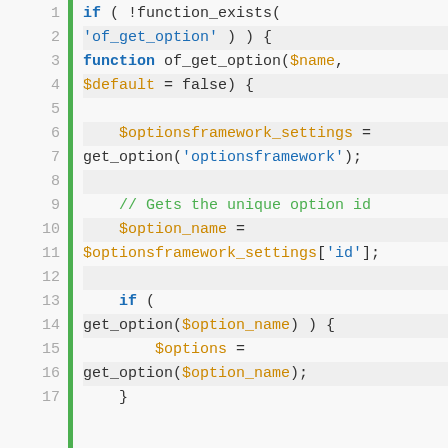[Figure (screenshot): PHP syntax-highlighted code snippet showing the of_get_option function definition with line numbers 1-17 and a green left border. Code uses blue keywords, orange variables, green comments, and pink built-in functions.]